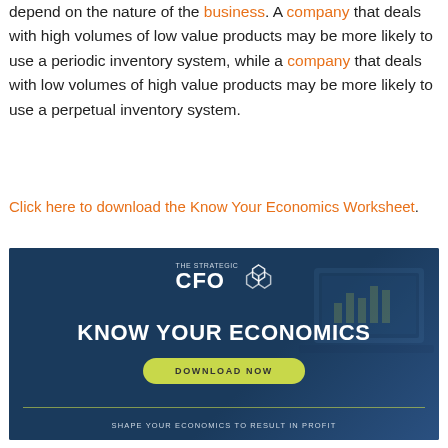depend on the nature of the business. A company that deals with high volumes of low value products may be more likely to use a periodic inventory system, while a company that deals with low volumes of high value products may be more likely to use a perpetual inventory system.
Click here to download the Know Your Economics Worksheet.
[Figure (illustration): The Strategic CFO banner advertisement with dark blue background, laptop imagery, CFO hexagon logo, 'KNOW YOUR ECONOMICS' headline, 'DOWNLOAD NOW' green pill button, green divider line, and tagline 'SHAPE YOUR ECONOMICS TO RESULT IN PROFIT']